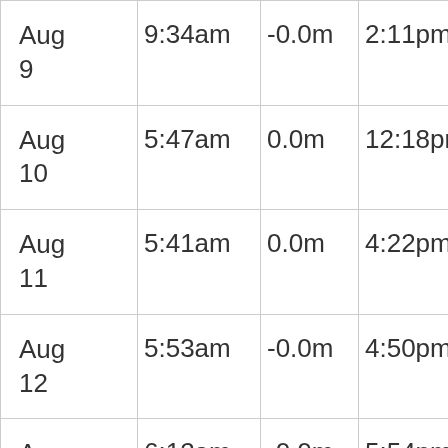| Date | Low Tide Time | Low Tide Height | High Tide Time | High Tide Height |
| --- | --- | --- | --- | --- |
| Aug 9 | 9:34am | -0.0m | 2:11pm | 0.0m |
| Aug 10 | 5:47am | 0.0m | 12:18pm | -0.0m |
| Aug 11 | 5:41am | 0.0m | 4:22pm | -0.0m |
| Aug 12 | 5:53am | -0.0m | 4:50pm | -0.0m |
| Aug 13 | 6:12am | -0.0m | 5:54pm | -0.0m |
| Aug 14 | 6:32am | -0.0m | 6:20pm | -0.0m |
| Aug | 7:04am | 0.0m | 7:24pm | 0.0m |